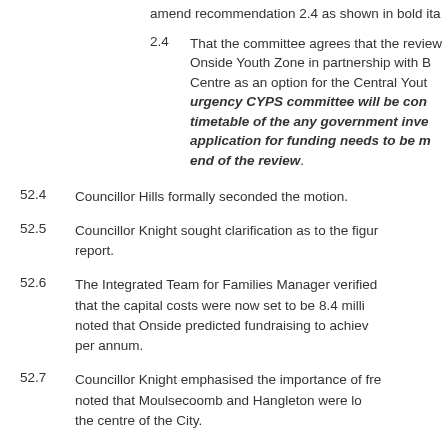amend recommendation 2.4 as shown in bold ita
2.4   That the committee agrees that the review Onside Youth Zone in partnership with B Centre as an option for the Central Yout urgency CYPS committee will be con timetable of the any government inve application for funding needs to be m end of the review.
52.4   Councillor Hills formally seconded the motion.
52.5   Councillor Knight sought clarification as to the figu report.
52.6   The Integrated Team for Families Manager verified that the capital costs were now set to be 8.4 milli noted that Onside predicted fundraising to achiev per annum.
52.7   Councillor Knight emphasised the importance of fre noted that Moulsecoomb and Hangleton were lo the centre of the City.